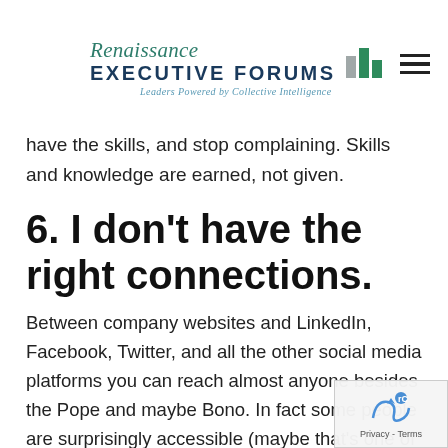Renaissance Executive Forums — Leaders Powered by Collective Intelligence
have the skills, and stop complaining. Skills and knowledge are earned, not given.
6. I don't have the right connections.
Between company websites and LinkedIn, Facebook, Twitter, and all the other social media platforms you can reach almost anyone besides the Pope and maybe Bono. In fact some people are surprisingly accessible (maybe that's one of the secrets of their success?) Still, start small. Start feasible. Build a foundation. A good network is like a pyramid with a wide base, not a